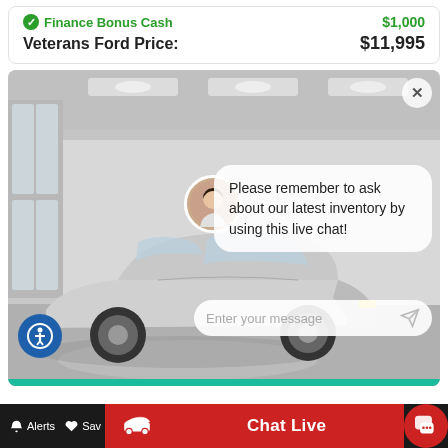Finance Bonus Cash $1,000
Veterans Ford Price: $11,995
[Figure (screenshot): Car dealership website screenshot showing a silver Toyota Camry in a white garage setting, with a live chat widget overlay. The chat widget shows an avatar of a female agent with a speech bubble reading 'Please remember to ask about our latest inventory by using this live chat!' and a message input field. An accessibility icon appears in the lower left. The bottom navigation bar shows Alerts, Save, a red car icon button, a red 'Chat Live' button, and a red chat icon button.]
Please remember to ask about our latest inventory by using this live chat!
Enter your message
Alerts   Save   [car icon]   Chat Live   [chat icon]